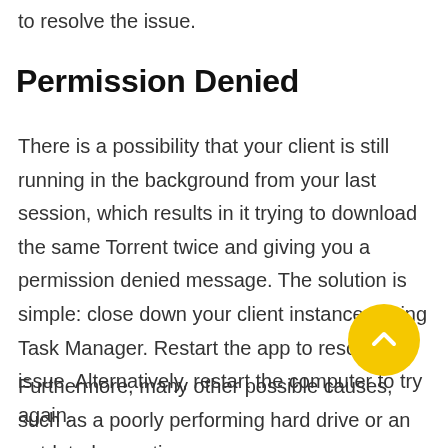to resolve the issue.
Permission Denied
There is a possibility that your client is still running in the background from your last session, which results in it trying to download the same Torrent twice and giving you a permission denied message. The solution is simple: close down your client instances using Task Manager. Restart the app to resolve the issue. Alternatively, restart the computer to try again.
Furthermore, many other possible causes, such as a poorly performing hard drive or an outdated operating